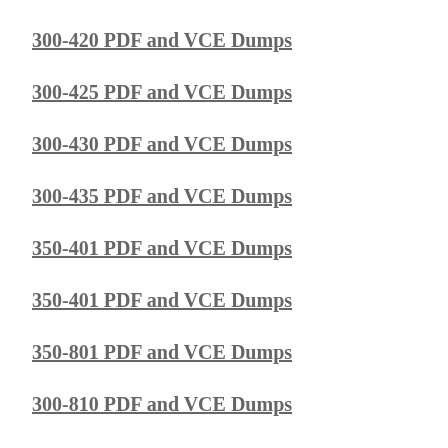300-420 PDF and VCE Dumps
300-425 PDF and VCE Dumps
300-430 PDF and VCE Dumps
300-435 PDF and VCE Dumps
350-401 PDF and VCE Dumps
350-401 PDF and VCE Dumps
350-801 PDF and VCE Dumps
300-810 PDF and VCE Dumps
300-815 PDF and VCE Dumps